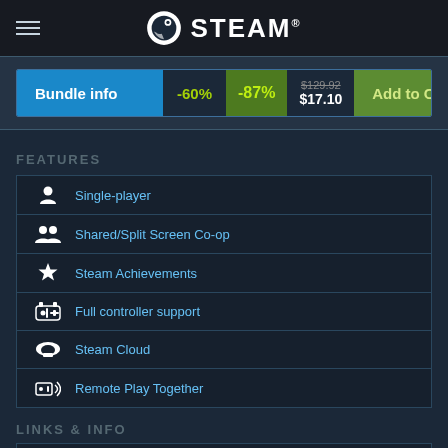Steam
[Figure (screenshot): Bundle info bar with -60% discount, -87% discount, original price $129.92, sale price $17.10, and Add to Cart button]
FEATURES
Single-player
Shared/Split Screen Co-op
Steam Achievements
Full controller support
Steam Cloud
Remote Play Together
LINKS & INFO